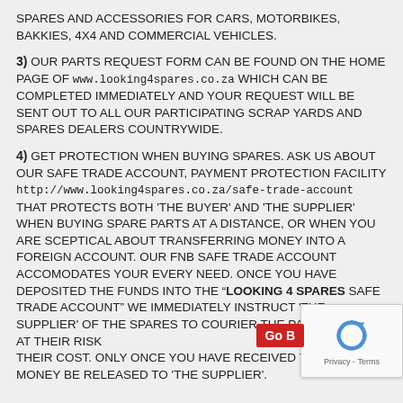SPARES AND ACCESSORIES FOR CARS, MOTORBIKES, BAKKIES, 4X4 AND COMMERCIAL VEHICLES.
3) OUR PARTS REQUEST FORM CAN BE FOUND ON THE HOME PAGE OF www.looking4spares.co.za WHICH CAN BE COMPLETED IMMEDIATELY AND YOUR REQUEST WILL BE SENT OUT TO ALL OUR PARTICIPATING SCRAP YARDS AND SPARES DEALERS COUNTRYWIDE.
4) GET PROTECTION WHEN BUYING SPARES. ASK US ABOUT OUR SAFE TRADE ACCOUNT, PAYMENT PROTECTION FACILITY http://www.looking4spares.co.za/safe-trade-account THAT PROTECTS BOTH 'THE BUYER' AND 'THE SUPPLIER' WHEN BUYING SPARE PARTS AT A DISTANCE, OR WHEN YOU ARE SCEPTICAL ABOUT TRANSFERRING MONEY INTO A FOREIGN ACCOUNT. OUR FNB SAFE TRADE ACCOUNT ACCOMODATES YOUR EVERY NEED. ONCE YOU HAVE DEPOSITED THE FUNDS INTO THE "LOOKING 4 SPARES SAFE TRADE ACCOUNT" WE IMMEDIATELY INSTRUCT 'THE SUPPLIER' OF THE SPARES TO COURIER THE PARTS TO YOU AT THEIR RISK THEIR COST. ONLY ONCE YOU HAVE RECEIVED YOUR MONEY BE RELEASED TO 'THE SUPPLIER'.